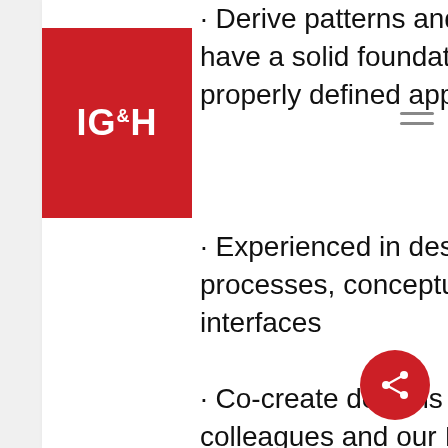[Figure (logo): IG&H company logo — red square with white bold text IG&H]
· Derive patterns and make sure your designs have a solid foundation to build upon, with properly defined applications and modules
· Experienced in designing functionality, processes, conceptual & logical data model and interfaces
· Co-create designs together with your BE colleagues and our IT developers, , adapting and documenting designs